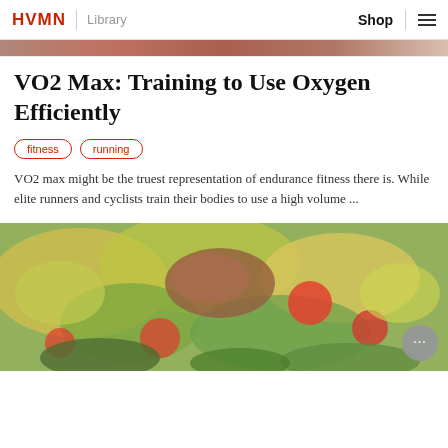HVMN | Library    Shop ☰
[Figure (photo): Partial top view of a food or fitness-related image, cropped at top]
VO2 Max: Training to Use Oxygen Efficiently
fitness
running
VO2 max might be the truest representation of endurance fitness there is. While elite runners and cyclists train their bodies to use a high volume ...
[Figure (photo): Close-up blurred photo of a colorful salad with tomatoes, green vegetables, and grilled meat]